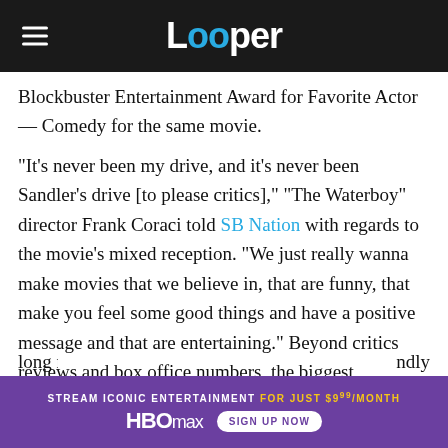Looper
Blockbuster Entertainment Award for Favorite Actor — Comedy for the same movie.
"It's never been my drive, and it's never been Sandler's drive [to please critics]," "The Waterboy" director Frank Coraci told SB Nation with regards to the movie's mixed reception. "We just really wanna make movies that we believe in, that are funny, that make you feel some good things and have a positive message and that are entertaining." Beyond critics reviews and box office numbers, the biggest testament to the success of "The Waterboy" in the long ru...ndly
[Figure (infographic): HBO Max advertisement banner: STREAM ICONIC ENTERTAINMENT FOR JUST $9.99/MONTH with HBO Max logo and SIGN UP NOW button]